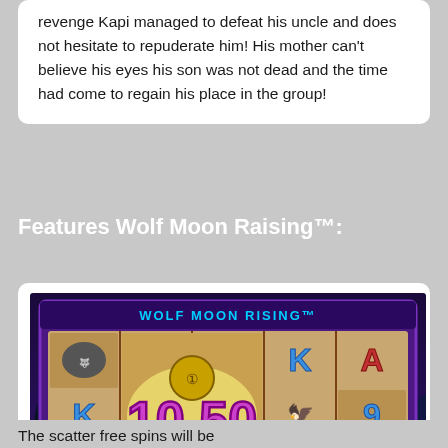revenge Kapi managed to defeat his uncle and does not hesitate to repuderate him! His mother can't believe his eyes his son was not dead and the time had come to regain his place in the group!
Features Wolf Moon Raising™:
[Figure (screenshot): Screenshot of Wolf Moon Rising slot machine game showing reels with K, A, 9, 10 symbols and a win display of 10.50]
The scatter free spins will be